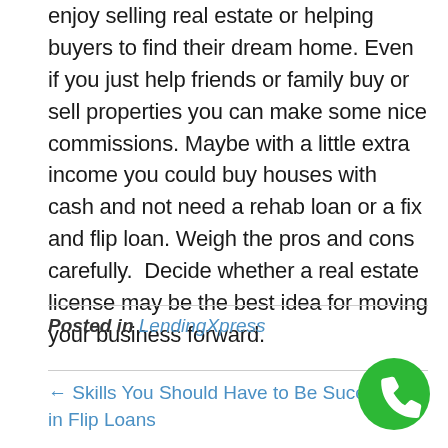enjoy selling real estate or helping buyers to find their dream home. Even if you just help friends or family buy or sell properties you can make some nice commissions. Maybe with a little extra income you could buy houses with cash and not need a rehab loan or a fix and flip loan. Weigh the pros and cons carefully.  Decide whether a real estate license may be the best idea for moving your business forward.
Posted in LendingXpress
← Skills You Should Have to Be Successful in Flip Loans